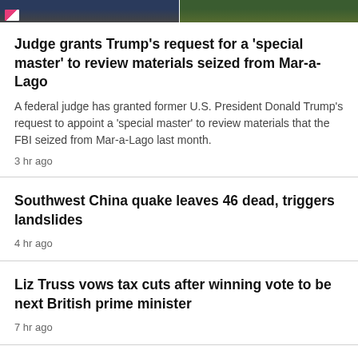[Figure (photo): Two cropped news photos side by side at top of page: left shows figures in dark clothing, right shows green foliage/outdoor scene]
Judge grants Trump's request for a 'special master' to review materials seized from Mar-a-Lago
A federal judge has granted former U.S. President Donald Trump's request to appoint a 'special master' to review materials that the FBI seized from Mar-a-Lago last month.
3 hr ago
Southwest China quake leaves 46 dead, triggers landslides
4 hr ago
Liz Truss vows tax cuts after winning vote to be next British prime minister
7 hr ago